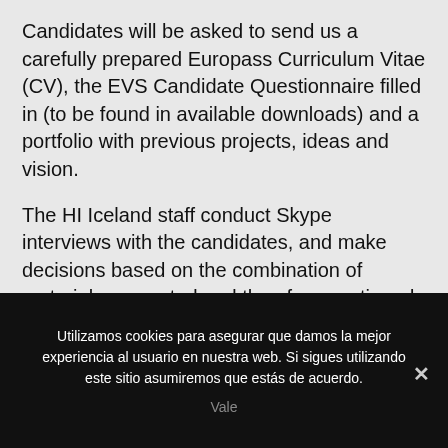Candidates will be asked to send us a carefully prepared Europass Curriculum Vitae (CV), the EVS Candidate Questionnaire filled in (to be found in available downloads) and a portfolio with previous projects, ideas and vision.
The HI Iceland staff conduct Skype interviews with the candidates, and make decisions based on the combination of materials presented and the aforementioned conversation.
Utilizamos cookies para asegurar que damos la mejor experiencia al usuario en nuestra web. Si sigues utilizando este sitio asumiremos que estás de acuerdo.
Vale